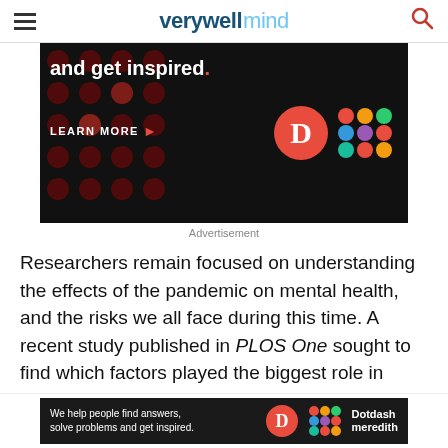verywell mind
[Figure (photo): Advertisement banner with dark background, polka dot pattern, text 'and get inspired.' with red dot, LEARN MORE button, and Dotdash Meredith logos]
Advertisement
Researchers remain focused on understanding the effects of the pandemic on mental health, and the risks we all face during this time. A recent study published in PLOS One sought to find which factors played the biggest role in mental health decline, and found that social support and psychological flexibility are key components in
[Figure (photo): Bottom advertisement bar: 'We help people find answers, solve problems and get inspired.' with Dotdash Meredith branding]